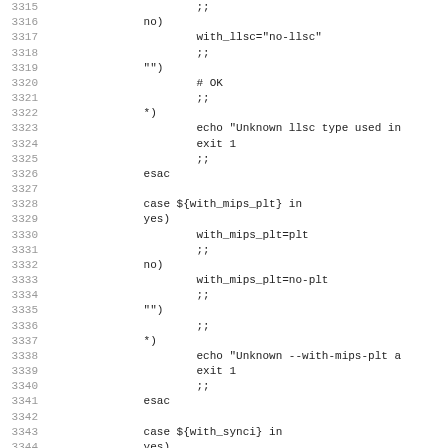Shell script source code lines 3315-3346 showing case statements for with_llsc, with_mips_plt, and with_synci variables